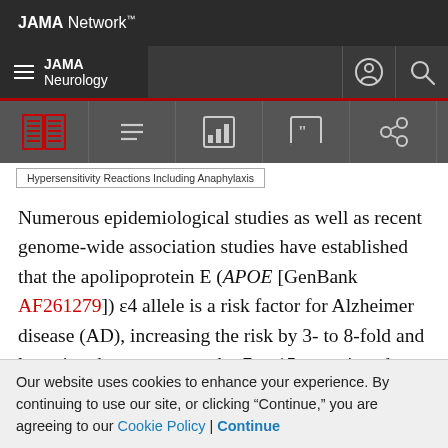JAMA Network
JAMA Neurology
[Figure (screenshot): JAMA Neurology website toolbar with icons: open book, list/TOC, bar chart, citation quote, link]
Hypersensitivity Reactions Including Anaphylaxis
Numerous epidemiological studies as well as recent genome-wide association studies have established that the apolipoprotein E (APOE [GenBank AF261279]) ε4 allele is a risk factor for Alzheimer disease (AD), increasing the risk by 3- to 8-fold and lowering the age at onset by 7 to 15 years in a dose-dependent manner.1-3 The ε4 allele is associated with integral features of AD neuropathology
Our website uses cookies to enhance your experience. By continuing to use our site, or clicking "Continue," you are agreeing to our Cookie Policy | Continue